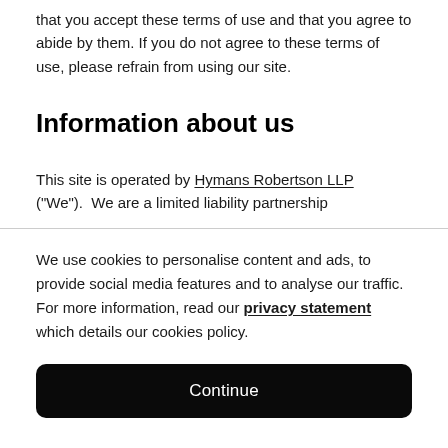that you accept these terms of use and that you agree to abide by them. If you do not agree to these terms of use, please refrain from using our site.
Information about us
This site is operated by Hymans Robertson LLP ("We").  We are a limited liability partnership
We use cookies to personalise content and ads, to provide social media features and to analyse our traffic. For more information, read our privacy statement which details our cookies policy.
Continue